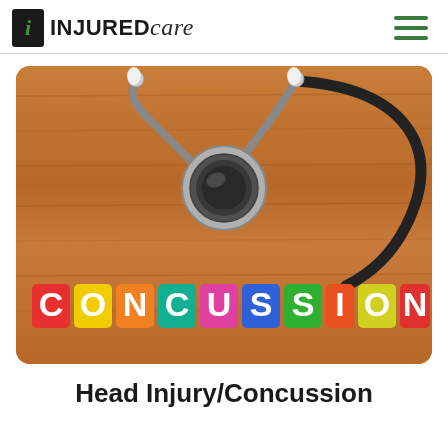INJURED care
[Figure (photo): A wooden board with colorful magnetic letters spelling CONCUSSION and a stethoscope placed above the letters on the wooden surface.]
Head Injury/Concussion